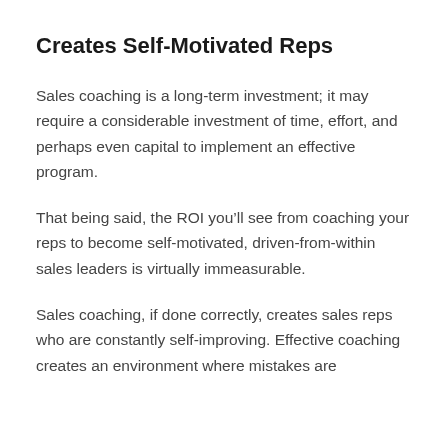Creates Self-Motivated Reps
Sales coaching is a long-term investment; it may require a considerable investment of time, effort, and perhaps even capital to implement an effective program.
That being said, the ROI you’ll see from coaching your reps to become self-motivated, driven-from-within sales leaders is virtually immeasurable.
Sales coaching, if done correctly, creates sales reps who are constantly self-improving. Effective coaching creates an environment where mistakes are